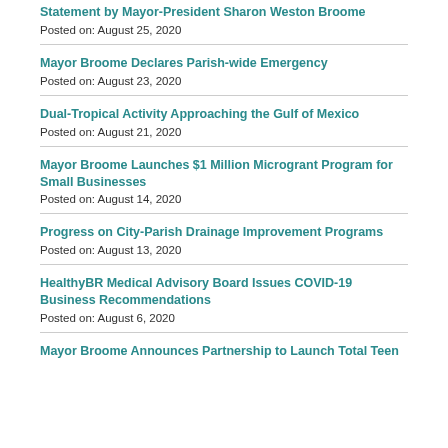Statement by Mayor-President Sharon Weston Broome
Posted on: August 25, 2020
Mayor Broome Declares Parish-wide Emergency
Posted on: August 23, 2020
Dual-Tropical Activity Approaching the Gulf of Mexico
Posted on: August 21, 2020
Mayor Broome Launches $1 Million Microgrant Program for Small Businesses
Posted on: August 14, 2020
Progress on City-Parish Drainage Improvement Programs
Posted on: August 13, 2020
HealthyBR Medical Advisory Board Issues COVID-19 Business Recommendations
Posted on: August 6, 2020
Mayor Broome Announces Partnership to Launch Total Teen...